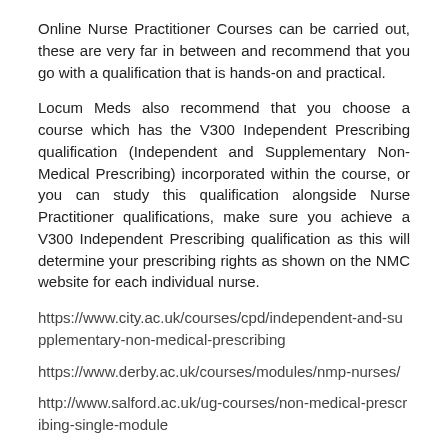Online Nurse Practitioner Courses can be carried out, these are very far in between and recommend that you go with a qualification that is hands-on and practical.
Locum Meds also recommend that you choose a course which has the V300 Independent Prescribing qualification (Independent and Supplementary Non-Medical Prescribing) incorporated within the course, or you can study this qualification alongside Nurse Practitioner qualifications, make sure you achieve a V300 Independent Prescribing qualification as this will determine your prescribing rights as shown on the NMC website for each individual nurse.
https://www.city.ac.uk/courses/cpd/independent-and-supplementary-non-medical-prescribing
https://www.derby.ac.uk/courses/modules/nmp-nurses/
http://www.salford.ac.uk/ug-courses/non-medical-prescribing-single-module
http://www.dmu.ac.uk/study/courses/postgraduate-courses/non-medical-prescribing-pg-cert/non-medical-